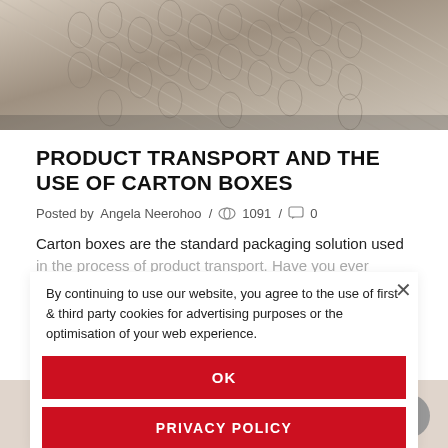[Figure (photo): Close-up photo of corrugated cardboard texture showing the wavy interior fluting of carton box material]
PRODUCT TRANSPORT AND THE USE OF CARTON BOXES
Posted by  Angela Neerohoo  /  1091  /  0
Carton boxes are the standard packaging solution used in the process of product transport. Have you ever wo
By continuing to use our website, you agree to the use of first & third party cookies for advertising purposes or the optimisation of your web experience.
OK
PRIVACY POLICY